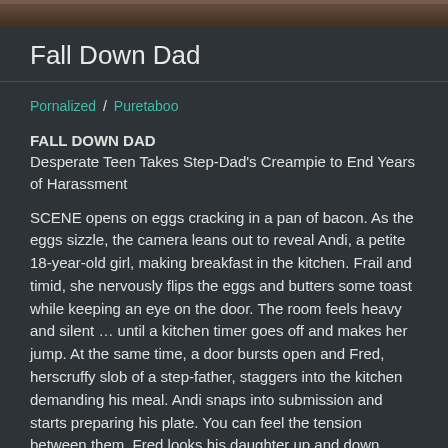[Figure (photo): Partial image bar at top of page, dark brownish tones]
Fall Down Dad
Pornalized / Puretaboo
FALL DOWN DAD
Desperate Teen Takes Step-Dad's Creampie to End Years of Harassment
SCENE opens on eggs cracking in a pan of bacon. As the eggs sizzle, the camera leans out to reveal Andi, a petite 18-year-old girl, making breakfast in the kitchen. Frail and timid, she nervously flips the eggs and butters some toast while keeping an eye on the door. The room feels heavy and silent … until a kitchen timer goes off and makes her jump. At the same time, a door bursts open and Fred, herscruffy slob of a step-father, staggers into the kitchen demanding his meal. Andi snaps into submission and starts preparing his plate. You can feel the tension between them. Fred looks his daughter up and down before settling on his chair and waiting for his food. He grabs himself and leers: